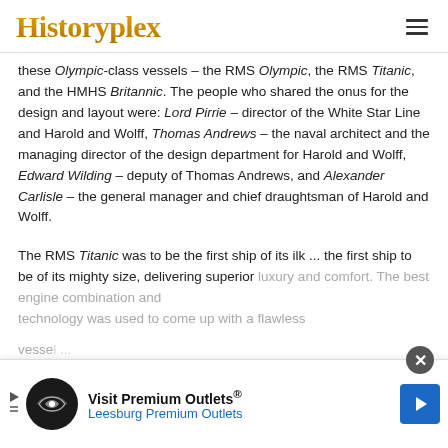Historyplex
these Olympic-class vessels – the RMS Olympic, the RMS Titanic, and the HMHS Britannic. The people who shared the onus for the design and layout were: Lord Pirrie – director of the White Star Line and Harold and Wolff, Thomas Andrews – the naval architect and the managing director of the design department for Harold and Wolff, Edward Wilding – deputy of Thomas Andrews, and Alexander Carlisle – the general manager and chief draughtsman of Harold and Wolff.
The RMS Titanic was to be the first ship of its ilk ... the first ship to be of its mighty size, delivering superior luxury and comfort. The best engine combination and technology was used to come up with a flawless vessel ... [continues]
[Figure (other): Advertisement banner: Visit Premium Outlets® Leesburg Premium Outlets, with close button and navigation arrow]